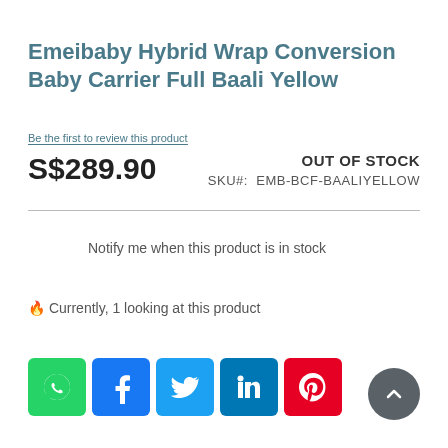Emeibaby Hybrid Wrap Conversion Baby Carrier Full Baali Yellow
Be the first to review this product
S$289.90
OUT OF STOCK
SKU#: EMB-BCF-BAALIYELLOW
Notify me when this product is in stock
🔥 Currently, 1 looking at this product
[Figure (infographic): Social sharing icons: WhatsApp (green), Facebook (blue), Twitter (light blue), LinkedIn (dark blue), Pinterest (red)]